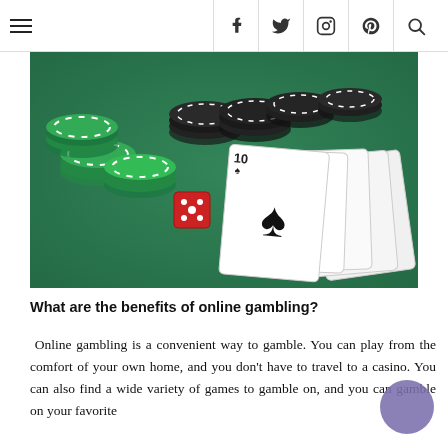≡  f  🐦  📷  𝗽  🔍
[Figure (photo): Casino scene: stacks of green, black, and red poker chips on a green felt table, a fan of playing cards (10, J, Q, K, A of spades) face up, and a red die.]
What are the benefits of online gambling?
Online gambling is a convenient way to gamble. You can play from the comfort of your own home, and you don't have to travel to a casino. You can also find a wide variety of games to gamble on, and you can gamble on your favorite